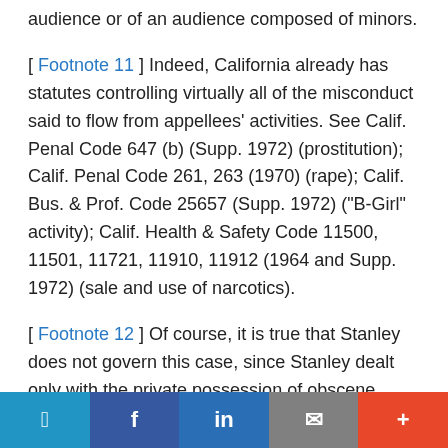audience or of an audience composed of minors.
[ Footnote 11 ] Indeed, California already has statutes controlling virtually all of the misconduct said to flow from appellees' activities. See Calif. Penal Code 647 (b) (Supp. 1972) (prostitution); Calif. Penal Code 261, 263 (1970) (rape); Calif. Bus. & Prof. Code 25657 (Supp. 1972) ("B-Girl" activity); Calif. Health & Safety Code 11500, 11501, 11721, 11910, 11912 (1964 and Supp. 1972) (sale and use of narcotics).
[ Footnote 12 ] Of course, it is true that Stanley does not govern this case, since Stanley dealt only with the private possession of obscene materials in one's own home. But in another sense, this case is stronger than Stanley. In Stanley, we held that the State's interest in the prevention of sex crimes did not justify laws restricting possession of certain materials, even though they were conceded to be obscene. It
Twitter | Facebook | LinkedIn | Email | +